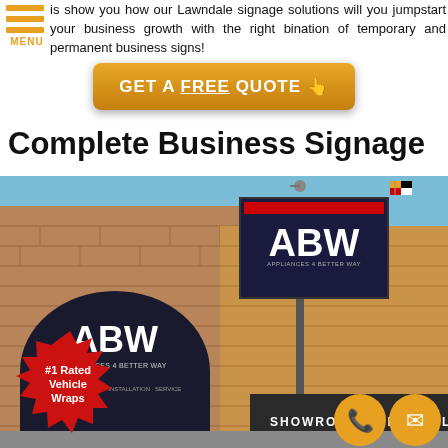is show you how our Lawndale signage solutions will you jumpstart your business growth with the right bination of temporary and permanent business signs!
GET A FREE QUOTE 👆
Complete Business Signage
[Figure (photo): Storefront of ABW (Appliances 4 Better) store showing building signage including a round black awning with ABW logo, a rectangular illuminated sign box on a pole with ABW logo, and a dark awning reading SHOWROOMS • INSTALL. A red starburst badge in the bottom left reads '#1 Rated Vehicle Wraps'. Two orange circular contact buttons (phone and mail) are visible at the bottom right.]